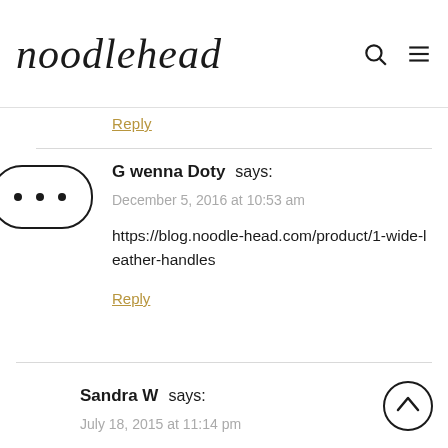noodlehead
Reply
G wenna Doty says:
December 5, 2016 at 10:53 am
https://blog.noodle-head.com/product/1-wide-leather-handles
Reply
Sandra W says:
July 18, 2015 at 11:14 pm